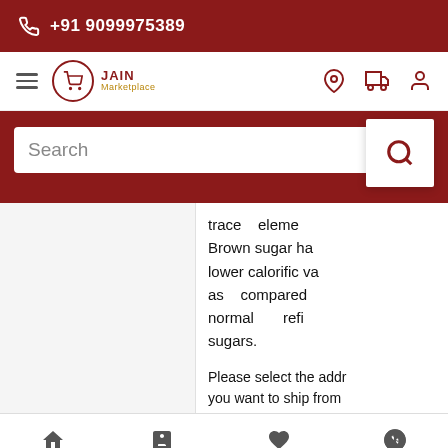+91 9099975389
[Figure (screenshot): Jain Marketplace navigation bar with hamburger menu, logo, and icons for location, cart, and user account]
[Figure (screenshot): Search bar with search button on dark red background]
trace elements. Brown sugar has lower calorific value as compared to normal refined sugars.
Please select the address you want to ship from
Home   Orders   Wish List   Offers